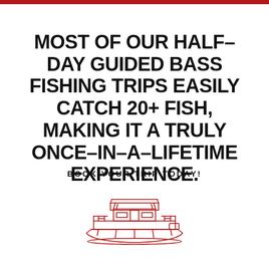MOST OF OUR HALF-DAY GUIDED BASS FISHING TRIPS EASILY CATCH 20+ FISH, MAKING IT A TRULY ONCE-IN-A-LIFETIME EXPERIENCE.
BOOK YOUR TRIP TODAY!
[Figure (illustration): Red line-art illustration of a pontoon fishing boat]